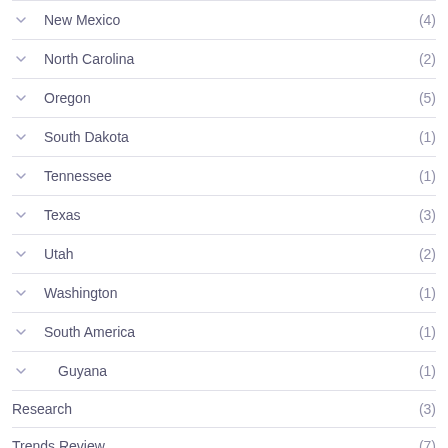New Mexico (4)
North Carolina (2)
Oregon (5)
South Dakota (1)
Tennessee (1)
Texas (3)
Utah (2)
Washington (1)
South America (1)
Guyana (1)
Research (3)
Trends Review (7)